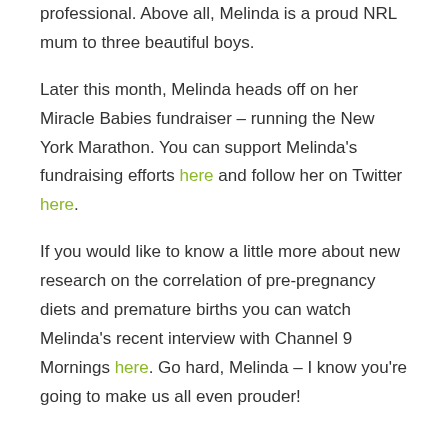professional. Above all, Melinda is a proud NRL mum to three beautiful boys.
Later this month, Melinda heads off on her Miracle Babies fundraiser – running the New York Marathon. You can support Melinda's fundraising efforts here and follow her on Twitter here.
If you would like to know a little more about new research on the correlation of pre-pregnancy diets and premature births you can watch Melinda's recent interview with Channel 9 Mornings here. Go hard, Melinda – I know you're going to make us all even prouder!